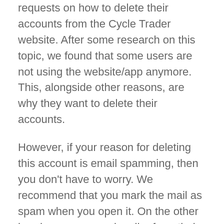requests on how to delete their accounts from the Cycle Trader website. After some research on this topic, we found that some users are not using the website/app anymore. This, alongside other reasons, are why they want to delete their accounts.
However, if your reason for deleting this account is email spamming, then you don't have to worry. We recommend that you mark the mail as spam when you open it. On the other hand, you can unsubscribe from their newsletters. To unsubscribe from their newsletters, Just tap on the unsubscribe button given at the bottom of the mail you received. Nevertheless, if your reason for deleting your account is otherwise, here is a step-by-step method on how to close your account from the website.
How To Delete Cycle Trader